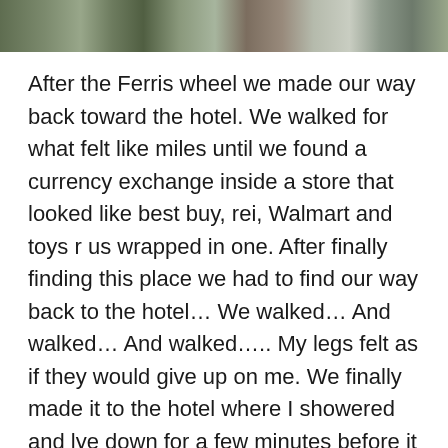[Figure (photo): A horizontal strip of multiple photos at the top of the page, showing outdoor scenes.]
After the Ferris wheel we made our way back toward the hotel. We walked for what felt like miles until we found a currency exchange inside a store that looked like best buy, rei, Walmart and toys r us wrapped in one. After finally finding this place we had to find our way back to the hotel… We walked… And walked… And walked….. My legs felt as if they would give up on me. We finally made it to the hotel where I showered and lye down for a few minutes before it was time to go get sushi. We were recommended a place for sushi but after another long walk we gave up and ended up at a hole in the wall sushi place. The options